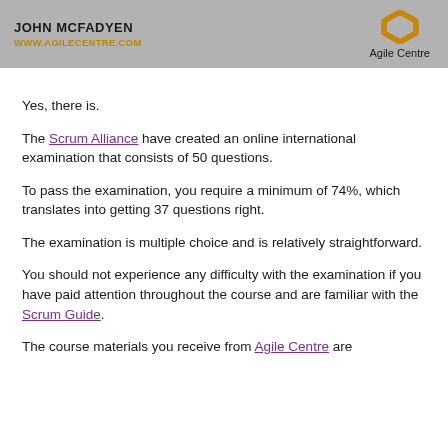JOHN MCFADYEN
WWW.AGILECENTRE.COM | Agile Centre
Yes, there is.
The Scrum Alliance have created an online international examination that consists of 50 questions.
To pass the examination, you require a minimum of 74%, which translates into getting 37 questions right.
The examination is multiple choice and is relatively straightforward.
You should not experience any difficulty with the examination if you have paid attention throughout the course and are familiar with the Scrum Guide.
The course materials you receive from Agile Centre are